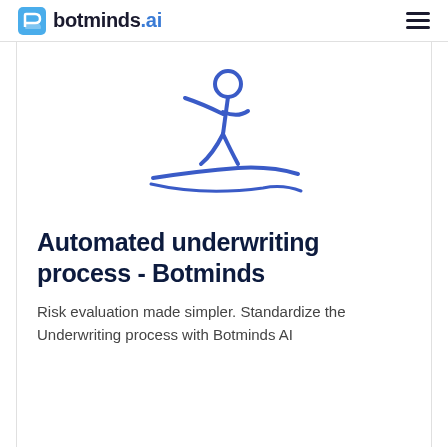botminds.ai
[Figure (illustration): Stick figure illustration of a person skiing or surfing, drawn in blue outline style, with a curved line beneath representing a slope or wave.]
Automated underwriting process - Botminds
Risk evaluation made simpler. Standardize the Underwriting process with Botminds AI